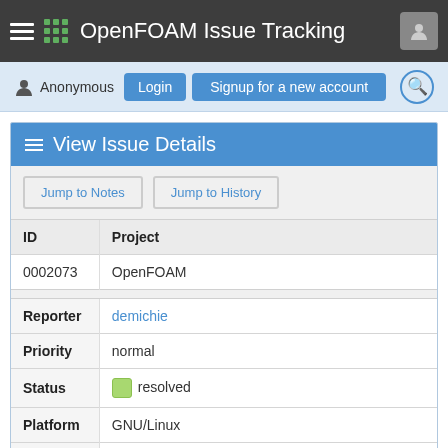OpenFOAM Issue Tracking
Anonymous Login Signup for a new account
View Issue Details
| ID | Project |
| --- | --- |
| 0002073 | OpenFOAM |
| Reporter | demichie |
| Priority | normal |
| Status | resolved |
| Platform | GNU/Linux |
| Fixed in Version | dev |
| Summary | 0002073: density problem in reactingTwoPhaseEulerFi |